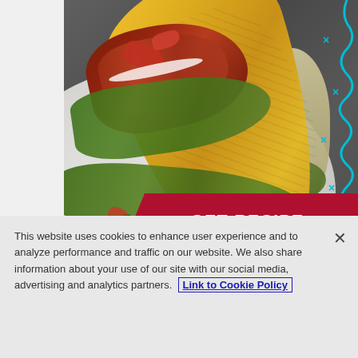[Figure (photo): Close-up photo of a taco with yellow corn shell filled with seasoned meat, lettuce, tomatoes, and toppings on a white plate, with rice visible on the side. A red banner overlay reads GET RECIPE. Cyan decorative zigzag and X elements appear on the right side.]
This website uses cookies to enhance user experience and to analyze performance and traffic on our website. We also share information about your use of our site with our social media, advertising and analytics partners. Link to Cookie Policy